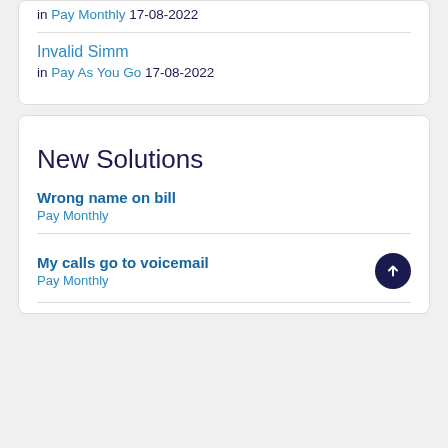in Pay Monthly 17-08-2022
Invalid Simm
in Pay As You Go 17-08-2022
New Solutions
Wrong name on bill
Pay Monthly
My calls go to voicemail
Pay Monthly